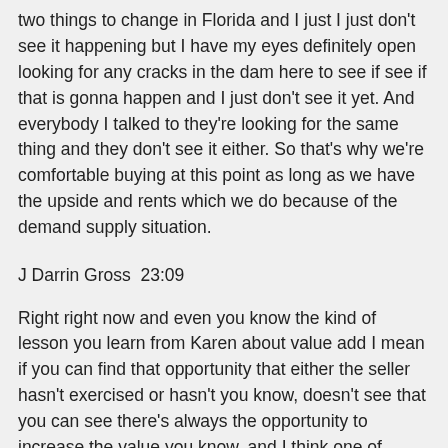two things to change in Florida and I just I just don't see it happening but I have my eyes definitely open looking for any cracks in the dam here to see if see if that is gonna happen and I just don't see it yet. And everybody I talked to they're looking for the same thing and they don't see it either. So that's why we're comfortable buying at this point as long as we have the upside and rents which we do because of the demand supply situation.
J Darrin Gross  23:09
Right right now and even you know the kind of lesson you learn from Karen about value add I mean if you can find that opportunity that either the seller hasn't exercised or hasn't you know, doesn't see that you can see there's always the opportunity to increase the value you know, and I think one of